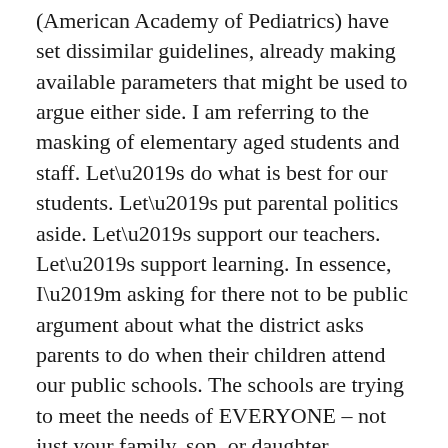(American Academy of Pediatrics) have set dissimilar guidelines, already making available parameters that might be used to argue either side. I am referring to the masking of elementary aged students and staff. Let’s do what is best for our students. Let’s put parental politics aside. Let’s support our teachers. Let’s support learning. In essence, I’m asking for there not to be public argument about what the district asks parents to do when their children attend our public schools. The schools are trying to meet the needs of EVERYONE – not just your family, son, or daughter.
There’s that word again. Public. Public means the school is available to everyone. But, people also have a choice, as we did eleven years ago. Digital learning is not for everyone. We found that out this year. But, I do believe some form of it is here to stay. I also think that is okay and even beneficial to expose our students to